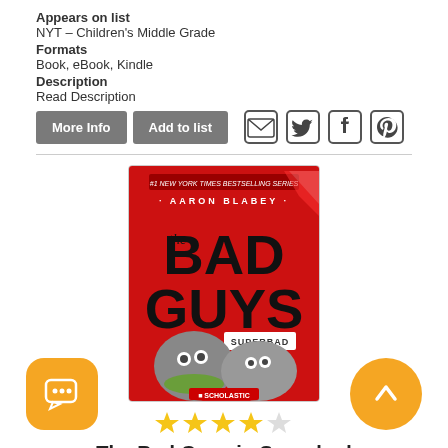Appears on list
NYT – Children's Middle Grade
Formats
Book, eBook, Kindle
Description
Read Description
[Figure (other): More Info and Add to list buttons, plus social media icons (email, Twitter, Facebook, Pinterest)]
[Figure (photo): Book cover of The Bad Guys in Superbad by Aaron Blabey, red cover with cartoon characters, Scholastic publisher]
[Figure (other): 3.5 star rating shown with yellow and grey stars]
The Bad Guys in Superbad
[Figure (other): Orange chat bubble floating button with speech icon, bottom left]
[Figure (other): Orange circular up arrow floating button, bottom right]